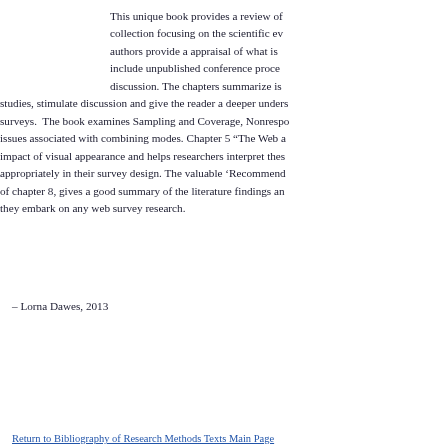This unique book provides a review of collection focusing on the scientific ev authors provide a appraisal of what is include unpublished conference proce discussion. The chapters summarize is studies, stimulate discussion and give the reader a deeper unders surveys.  The book examines Sampling and Coverage, Nonrespo issues associated with combining modes. Chapter 5 “The Web a impact of visual appearance and helps researchers interpret thes appropriately in their survey design. The valuable ‘Recommend of chapter 8, gives a good summary of the literature findings an they embark on any web survey research.
– Lorna Dawes, 2013
Return to Bibliography of Research Methods Texts Main Page